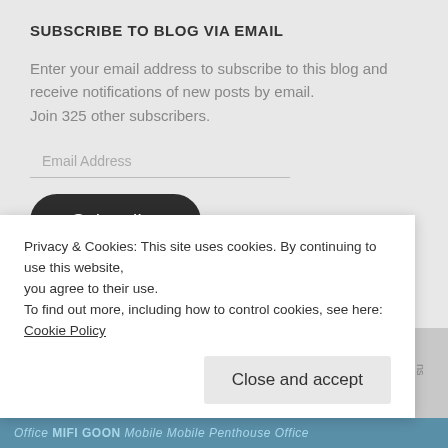SUBSCRIBE TO BLOG VIA EMAIL
Enter your email address to subscribe to this blog and receive notifications of new posts by email.
Join 325 other subscribers.
Email Address
Subscribe
TAGS
Android consoles DDR4 Downloading emails Facebook
Privacy & Cookies: This site uses cookies. By continuing to use this website, you agree to their use.
To find out more, including how to control cookies, see here: Cookie Policy
Close and accept